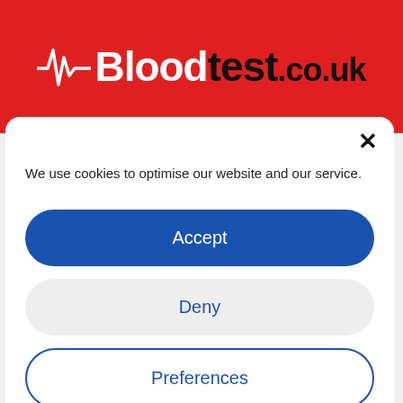[Figure (logo): Bloodtest.co.uk logo on red banner background with ECG heartbeat line graphic]
×
We use cookies to optimise our website and our service.
Accept
Deny
Preferences
Cookie Policy   Privacy Policy